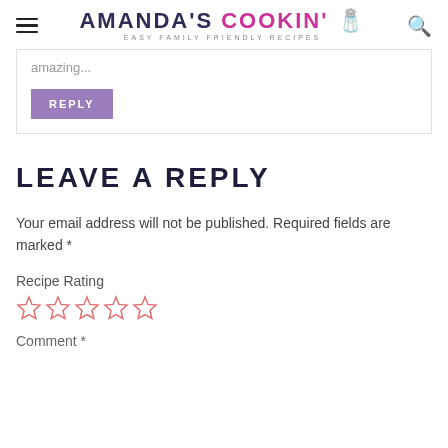AMANDA'S COOKIN' — EASY FAMILY FRIENDLY RECIPES
amazing...
REPLY
LEAVE A REPLY
Your email address will not be published. Required fields are marked *
Recipe Rating
[Figure (other): Five empty star rating icons in pink/salmon outline]
Comment *